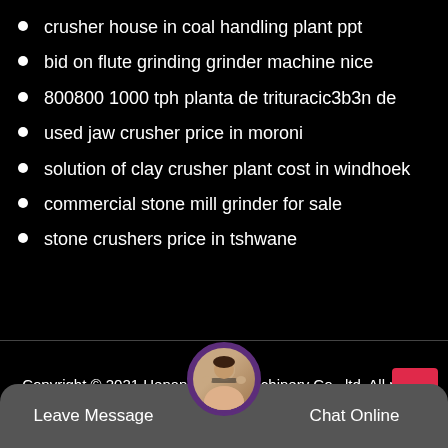crusher house in coal handling plant ppt
bid on flute grinding grinder machine nice
800800 1000 tph planta de trituracic3b3n de
used jaw crusher price in moroni
solution of clay crusher plant cost in windhoek
commercial stone mill grinder for sale
stone crushers price in tshwane
Copyright © 2021.Henan Mining Machinery Co., ltd. All rights reserved. Sitemap
Leave Message  Chat Online